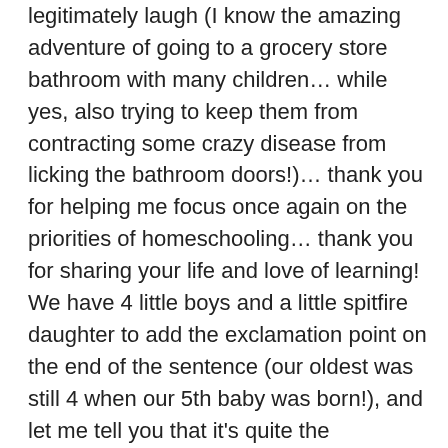legitimately laugh (I know the amazing adventure of going to a grocery store bathroom with many children… while yes, also trying to keep them from contracting some crazy disease from licking the bathroom doors!)… thank you for helping me focus once again on the priorities of homeschooling… thank you for sharing your life and love of learning!
We have 4 little boys and a little spitfire daughter to add the exclamation point on the end of the sentence (our oldest was still 4 when our 5th baby was born!), and let me tell you that it's quite the adventure! Dirt, warrior yells, muddy clothes, lots of laughter (and tears), homemade flower (aka weed) bouquets, and SO much love.
I'm encouraged to keep going. To focus our